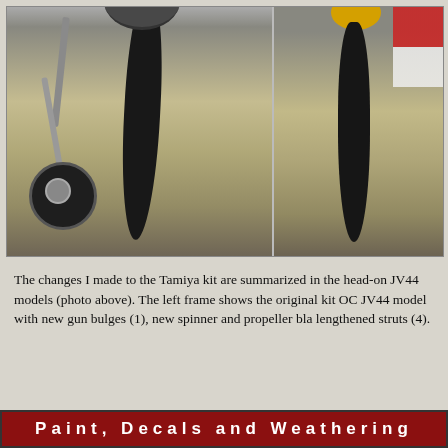[Figure (photo): Two side-by-side photographs showing close-up views of WWII aircraft propeller and landing gear details. Left frame shows the aircraft's landing gear wheel/strut and large black propeller blade against a gravel/dirt background. Right frame shows a different view of the propeller blade with a yellow spinner visible at top and red/white markings.]
The changes I made to the Tamiya kit are summarized in the head-on JV44 models (photo above). The left frame shows the original kit OC JV44 model with new gun bulges (1), new spinner and propeller bla lengthened struts (4).
Paint, Decals and Weathering